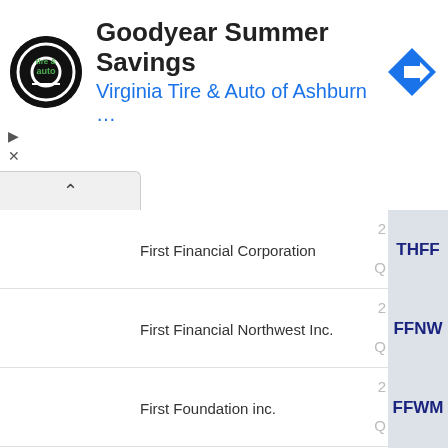[Figure (screenshot): Advertisement banner for Goodyear Summer Savings by Virginia Tire & Auto of Ashburn]
First Financial Corporation — THFF
First Financial Northwest Inc. — FFNW
First Foundation inc. — FFWM
2 (partial row)